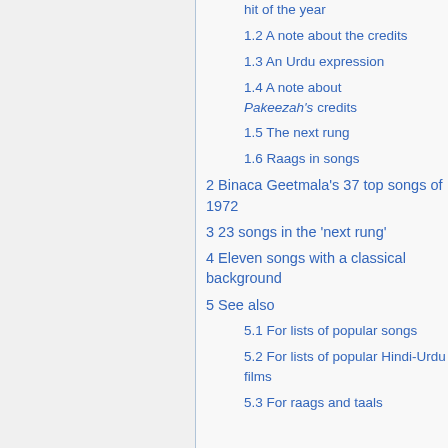hit of the year
1.2 A note about the credits
1.3 An Urdu expression
1.4 A note about Pakeezah's credits
1.5 The next rung
1.6 Raags in songs
2 Binaca Geetmala's 37 top songs of 1972
3 23 songs in the 'next rung'
4 Eleven songs with a classical background
5 See also
5.1 For lists of popular songs
5.2 For lists of popular Hindi-Urdu films
5.3 For raags and taals